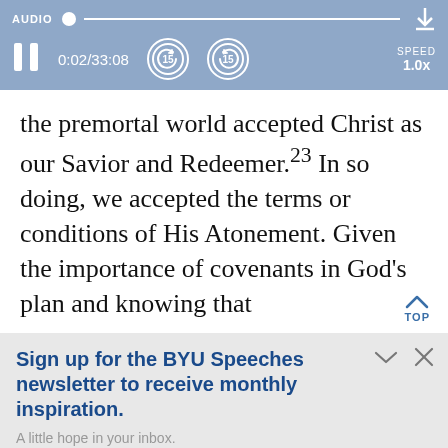[Figure (screenshot): Audio player bar showing AUDIO label, progress slider with dot, pause button, time 0:02/33:08, rewind 15s, forward 15s buttons, SPEED 1.0x, and download icon]
the premortal world accepted Christ as our Savior and Redeemer.23 In so doing, we accepted the terms or conditions of His Atonement. Given the importance of covenants in God's plan and knowing that
Sign up for the BYU Speeches newsletter to receive monthly inspiration.
A little hope in your inbox.
Enter your email
SUBSCRIBE